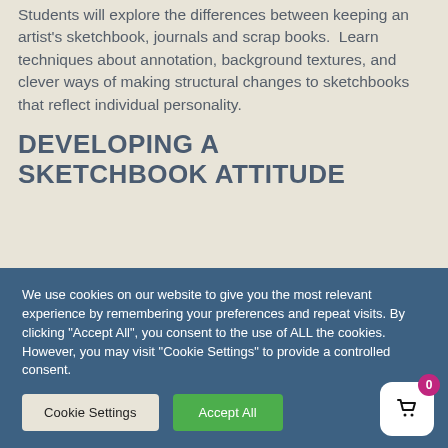Students will explore the differences between keeping an artist's sketchbook, journals and scrap books.  Learn techniques about annotation, background textures, and clever ways of making structural changes to sketchbooks that reflect individual personality.
DEVELOPING A SKETCHBOOK ATTITUDE
We use cookies on our website to give you the most relevant experience by remembering your preferences and repeat visits. By clicking "Accept All", you consent to the use of ALL the cookies. However, you may visit "Cookie Settings" to provide a controlled consent.